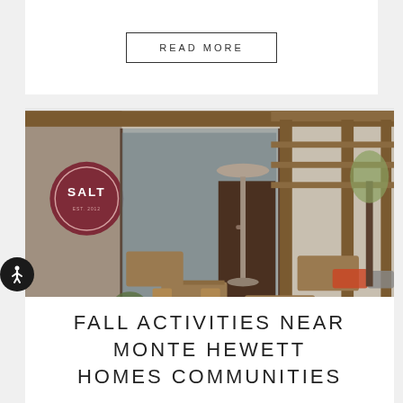READ MORE
[Figure (photo): Outdoor patio of a restaurant called SALT, showing wooden tables and chairs under a pergola, with a patio heater in the center. The brick building exterior is visible on the left with the SALT logo sign.]
FALL ACTIVITIES NEAR MONTE HEWETT HOMES COMMUNITIES